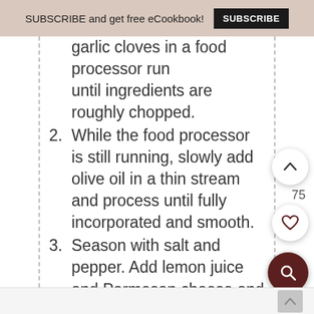SUBSCRIBE and get free eCookbook! SUBSCRIBE
garlic cloves in a food processor run until ingredients are roughly chopped.
2. While the food processor is still running, slowly add olive oil in a thin stream and process until fully incorporated and smooth.
3. Season with salt and pepper. Add lemon juice and Parmesan cheese and mix until well combined. Add a bit more cheese or oil until you're happy with consistency.